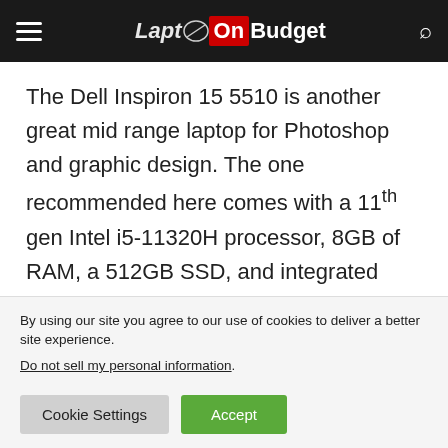LaptopOnBudget
The Dell Inspiron 15 5510 is another great mid range laptop for Photoshop and graphic design. The one recommended here comes with a 11th gen Intel i5-11320H processor, 8GB of RAM, a 512GB SSD, and integrated Intel Iris XE graphics.
In terms of performance, the Inspiron 15 offers a
By using our site you agree to our use of cookies to deliver a better site experience. Do not sell my personal information.